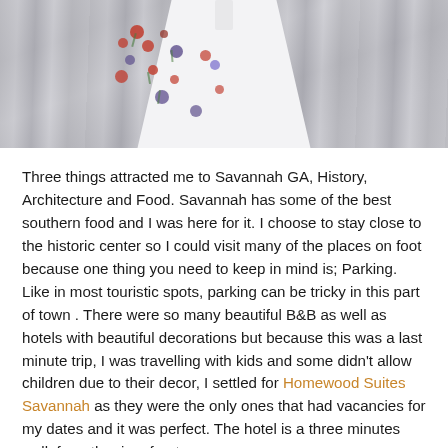[Figure (photo): Photo of a person wearing a white floral dress with red and purple flowers, against a blurred grey background. Only the torso/dress area is visible.]
Three things attracted me to Savannah GA, History, Architecture and Food. Savannah has some of the best southern food and I was here for it. I choose to stay close to the historic center so I could visit many of the places on foot because one thing you need to keep in mind is; Parking. Like in most touristic spots, parking can be tricky in this part of town . There were so many beautiful B&B as well as hotels with beautiful decorations but because this was a last minute trip, I was travelling with kids and some didn't allow children due to their decor, I settled for Homewood Suites Savannah as they were the only ones that had vacancies for my dates and it was perfect. The hotel is a three minutes walk from the river front